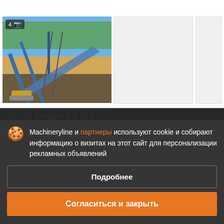[Figure (photo): Mining conveyor equipment at an open-pit quarry site, photographed with blue sky and trees in background. Badge shows '4' photos icon.]
ROHR Bagger KS 220
295 300 €
2210 hour
Польша
Machineryline и партнеры используют cookie и собирают информацию о визитах на этот сайт для персонализации рекламных объявлений
Подробнее
Согласиться и закрыть